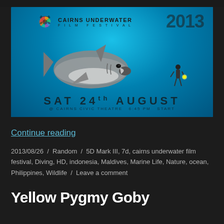[Figure (illustration): Cairns Underwater Film Festival 2013 promotional banner featuring a great white shark and a diver on an underwater blue background. Text reads: CAIRNS UNDERWATER FILM FESTIVAL 2013, SAT 24th AUGUST, @ CAIRNS CIVIC THEATRE 6:45 PM START]
Continue reading
2013/08/26 / Random / 5D Mark III, 7d, cairns underwater film festival, Diving, HD, indonesia, Maldives, Marine Life, Nature, ocean, Philippines, Wildlife / Leave a comment
Yellow Pygmy Goby